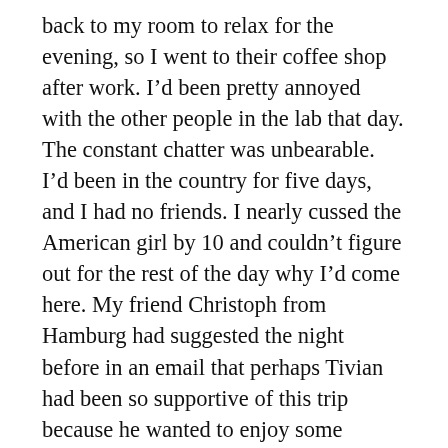back to my room to relax for the evening, so I went to their coffee shop after work. I'd been pretty annoyed with the other people in the lab that day. The constant chatter was unbearable. I'd been in the country for five days, and I had no friends. I nearly cussed the American girl by 10 and couldn't figure out for the rest of the day why I'd come here. My friend Christoph from Hamburg had suggested the night before in an email that perhaps Tivian had been so supportive of this trip because he wanted to enjoy some freedom before we were married. He's never met Tivian, and doesn't know what a wonderful man he is. I thought I'd disregarded Christoph's comments entirely, but after nearly cussing the American girl, I